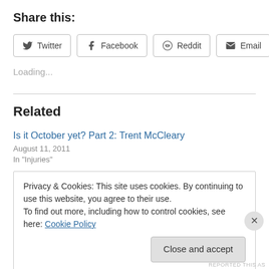Share this:
[Figure (other): Share buttons: Twitter, Facebook, Reddit, Email]
Loading...
Related
Is it October yet? Part 2: Trent McCleary
August 11, 2011
In "Injuries"
Privacy & Cookies: This site uses cookies. By continuing to use this website, you agree to their use.
To find out more, including how to control cookies, see here: Cookie Policy
Close and accept